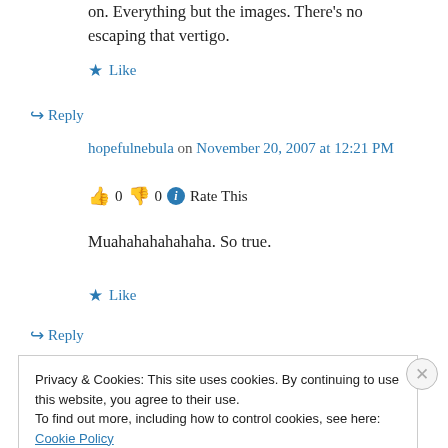on. Everything but the images. There's no escaping that vertigo.
★ Like
↪ Reply
hopefulnebula on November 20, 2007 at 12:21 PM
👍 0 👎 0 ℹ Rate This
Muahahahahahaha. So true.
★ Like
↪ Reply
Privacy & Cookies: This site uses cookies. By continuing to use this website, you agree to their use. To find out more, including how to control cookies, see here: Cookie Policy
Close and accept